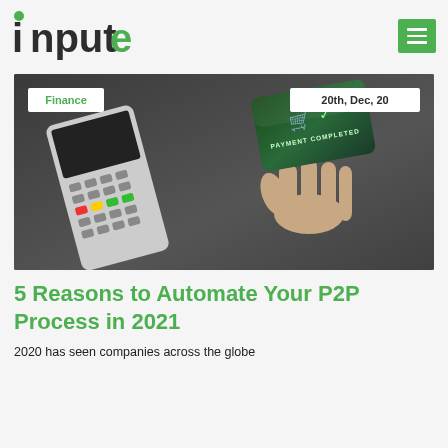[Figure (logo): inpute logo with green 'i' dot and green 'e' letter, dark gray text]
[Figure (photo): Payment terminal and hand holding card with 'PAYMENT COMPLETED' screen, dark background. Finance tag top-left, date tag top-right.]
Finance   20th, Dec, 20
5 Reasons to Automate Your P2P Process in 2021
2020 has seen companies across the globe